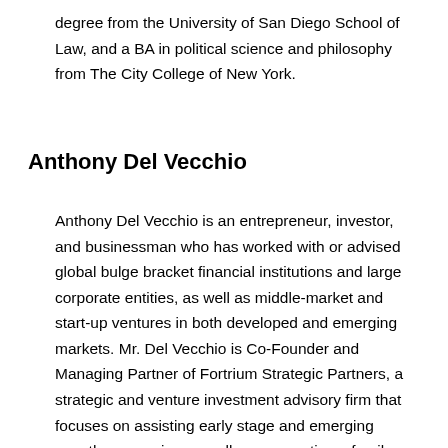degree from the University of San Diego School of Law, and a BA in political science and philosophy from The City College of New York.
Anthony Del Vecchio
Anthony Del Vecchio is an entrepreneur, investor, and businessman who has worked with or advised global bulge bracket financial institutions and large corporate entities, as well as middle-market and start-up ventures in both developed and emerging markets. Mr. Del Vecchio is Co-Founder and Managing Partner of Fortrium Strategic Partners, a strategic and venture investment advisory firm that focuses on assisting early stage and emerging growth companies as well as corporations, family